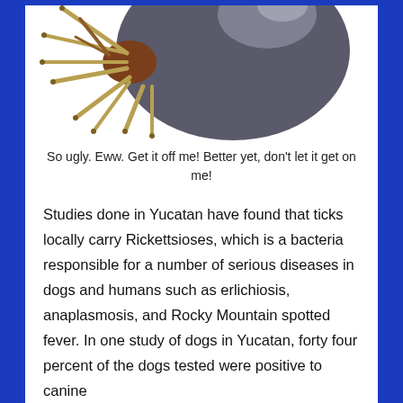[Figure (photo): Close-up photo of an engorged tick with a large dark grey/brown abdomen and yellowish-tan legs, viewed from above/side angle.]
So ugly. Eww. Get it off me! Better yet, don't let it get on me!
Studies done in Yucatan have found that ticks locally carry Rickettsioses, which is a bacteria responsible for a number of serious diseases in dogs and humans such as erlichiosis, anaplasmosis, and Rocky Mountain spotted fever. In one study of dogs in Yucatan, forty four percent of the dogs tested were positive to canine